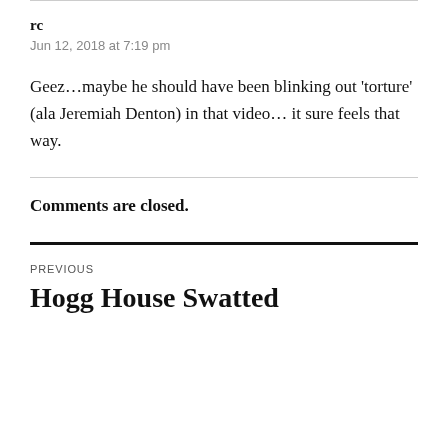rc
Jun 12, 2018 at 7:19 pm
Geez…maybe he should have been blinking out 'torture' (ala Jeremiah Denton) in that video… it sure feels that way.
Comments are closed.
PREVIOUS
Hogg House Swatted